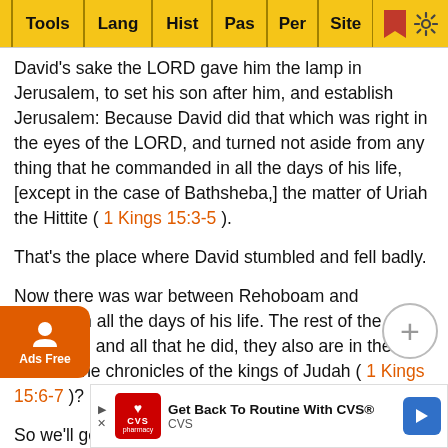Tools | Lang | Hist | Pas | Per | Site [bookmark] [settings]
David's sake the LORD gave him the lamp in Jerusalem, to set his son after him, and establish Jerusalem: Because David did that which was right in the eyes of the LORD, and turned not aside from any thing that he commanded in all the days of his life, [except in the case of Bathsheba,] the matter of Uriah the Hittite ( 1 Kings 15:3-5 ).
That's the place where David stumbled and fell badly.
Now there was war between Rehoboam and Jeroboam all the days of his life. The rest of the acts of Abijam, and all that he did, they also are in the book of the chronicles of the kings of Judah ( 1 Kings 15:6-7 )?
So we'll get more on Abijam later.
Abijam slept with his fathers; they buried him in the city of David: and Asa his son reigned in his stead. Now in the twent...
[Figure (screenshot): CVS advertisement banner: 'Get Back To Routine With CVS®']
So Ab...